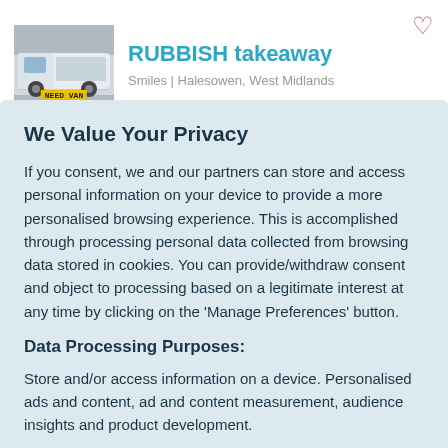[Figure (photo): Van with 'NEED VAN' label on a yellow background strip at the bottom]
RUBBISH takeaway
Smiles | Halesowen, West Midlands
We Value Your Privacy
If you consent, we and our partners can store and access personal information on your device to provide a more personalised browsing experience. This is accomplished through processing personal data collected from browsing data stored in cookies. You can provide/withdraw consent and object to processing based on a legitimate interest at any time by clicking on the 'Manage Preferences' button.
Data Processing Purposes:
Store and/or access information on a device. Personalised ads and content, ad and content measurement, audience insights and product development.
List of Partners (vendors)
Accept
Manage your privacy settings